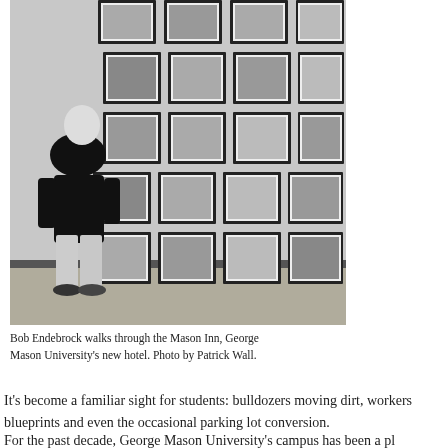[Figure (photo): Black and white photograph of a person (Bob Endebrock) viewed from behind, standing in a hallway looking at a large wall display of framed photographs arranged in a grid pattern. The person is wearing dark top and light trousers. The wall has approximately 5 rows and 4 columns of framed black and white photos.]
Bob Endebrock walks through the Mason Inn, George Mason University's new hotel. Photo by Patrick Wall.
It's become a familiar sight for students: bulldozers moving dirt, workers blueprints and even the occasional parking lot conversion.
For the past decade, George Mason University's campus has been a pl